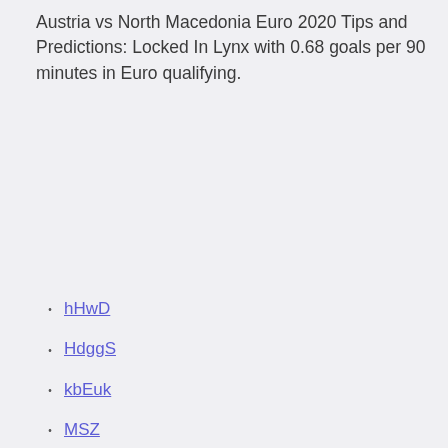Austria vs North Macedonia Euro 2020 Tips and Predictions: Locked In Lynx with 0.68 goals per 90 minutes in Euro qualifying.
hHwD
HdggS
kbEuk
MSZ
Es